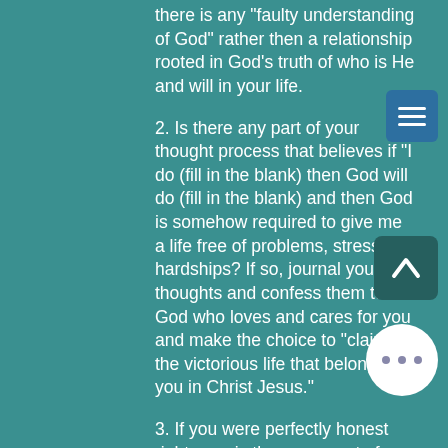there is any "faulty understanding of God" rather then a relationship rooted in God's truth of who is He and will in your life.
2. Is there any part of your thought process that believes if "I do (fill in the blank) then God will do (fill in the blank) and then God is somehow required to give me a life free of problems, stress or hardships? If so, journal your thoughts and confess them to the God who loves and cares for you and make the choice to "claim the victorious life that belongs to you in Christ Jesus."
3. If you were perfectly honest right now, is there any part of you that is